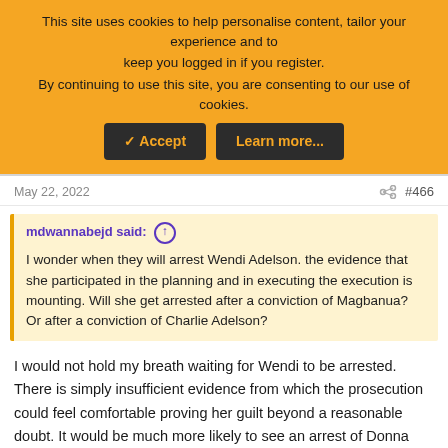This site uses cookies to help personalise content, tailor your experience and to keep you logged in if you register. By continuing to use this site, you are consenting to our use of cookies.
✓ Accept | Learn more...
May 22, 2022   #466
mdwannabejd said: ↑ I wonder when they will arrest Wendi Adelson. the evidence that she participated in the planning and in executing the execution is mounting. Will she get arrested after a conviction of Magbanua? Or after a conviction of Charlie Adelson?
I would not hold my breath waiting for Wendi to be arrested. There is simply insufficient evidence from which the prosecution could feel comfortable proving her guilt beyond a reasonable doubt. It would be much more likely to see an arrest of Donna